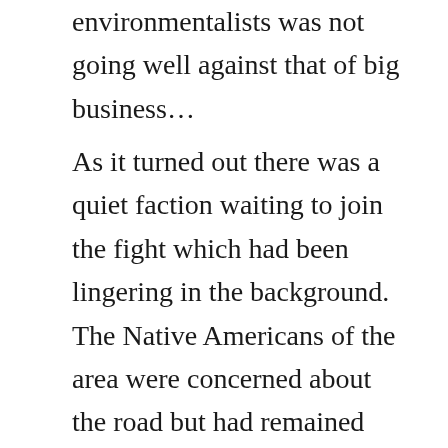environmentalists was not going well against that of big business…
As it turned out there was a quiet faction waiting to join the fight which had been lingering in the background. The Native Americans of the area were concerned about the road but had remained quiet because in Indian circles it was unacceptable to speak directly about sacred matters. In 1974 a leading anthropologist on Yurok culture, Arnold Pilling, raised the issue of a potential violation of religious freedom guaranteed under the First